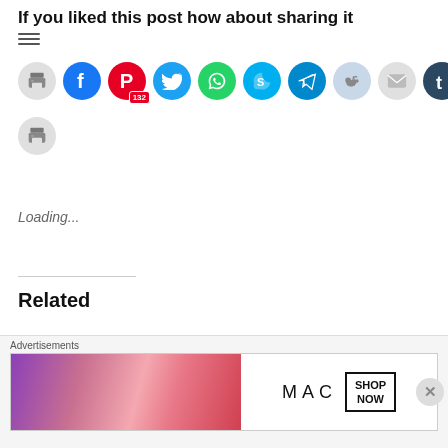If you liked this post how about sharing it
[Figure (infographic): Row of social media sharing icons: print (gray), Facebook (blue), Pinterest (red, badge 132), Twitter (blue), WhatsApp (green), Skype (blue), Telegram (blue), Reddit (light blue), Email (gray), Tumblr (dark blue), LinkedIn (blue). Second row: print (gray).]
Loading...
[Figure (infographic): Three thumbnail images for related posts, partially visible at bottom of page.]
Related
[Figure (infographic): Advertisement banner for MAC cosmetics showing lipsticks and SHOP NOW button.]